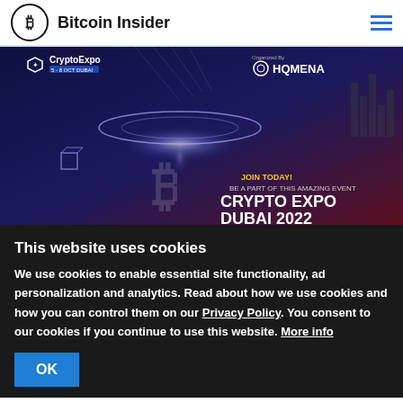Bitcoin Insider
[Figure (photo): CryptoExpo Dubai 2022 promotional banner image. Shows a dark blue sci-fi themed graphic with a glowing circular platform and 3D Bitcoin symbol. Text reads: CryptoExpo 5-8 OCT DUBAI, Organized By HQMENA, JOIN TODAY! BE A PART OF THIS AMAZING EVENT, CRYPTO EXPO DUBAI 2022]
This website uses cookies
We use cookies to enable essential site functionality, ad personalization and analytics. Read about how we use cookies and how you can control them on our Privacy Policy. You consent to our cookies if you continue to use this website. More info
OK